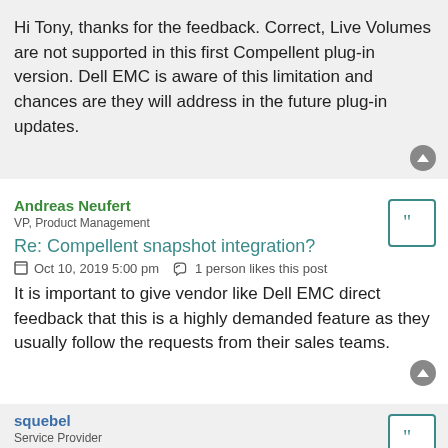Hi Tony, thanks for the feedback. Correct, Live Volumes are not supported in this first Compellent plug-in version. Dell EMC is aware of this limitation and chances are they will address in the future plug-in updates.
Andreas Neufert
VP, Product Management
Re: Compellent snapshot integration?
Oct 10, 2019 5:00 pm   1 person likes this post
It is important to give vendor like Dell EMC direct feedback that this is a highly demanded feature as they usually follow the requests from their sales teams.
squebel
Service Provider
Re: Compellent snapshot integration?
Oct 10, 2019 6:21 pm   1 person likes this post
And here is our experience so far using only iSCSI:
- Configuration was a breeze. Make sure your proxies have access to the storage, configure the array in Veeam and then